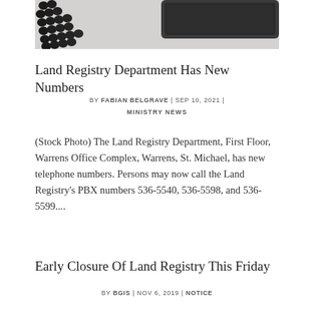[Figure (photo): Stock photo of a telephone handset with cord on a light surface, top portion cropped]
Land Registry Department Has New Numbers
BY FABIAN BELGRAVE | SEP 10, 2021 | MINISTRY NEWS
(Stock Photo) The Land Registry Department, First Floor, Warrens Office Complex, Warrens, St. Michael, has new telephone numbers. Persons may now call the Land Registry's PBX numbers 536-5540, 536-5598, and 536-5599....
Early Closure Of Land Registry This Friday
BY BGIS | NOV 6, 2019 | NOTICE